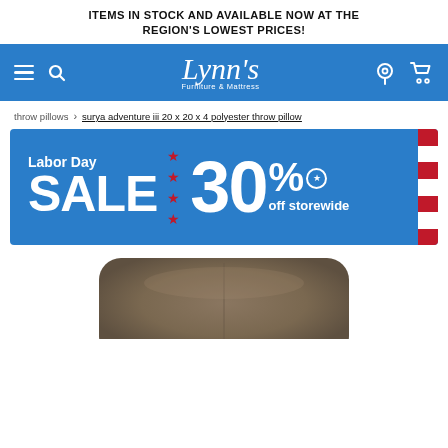ITEMS IN STOCK AND AVAILABLE NOW AT THE REGION'S LOWEST PRICES!
[Figure (screenshot): Lynn's Furniture & Mattress navigation bar with hamburger menu, search icon, logo, location pin, and cart icon on blue background]
throw pillows > surya adventure iii 20 x 20 x 4 polyester throw pillow
[Figure (infographic): Labor Day SALE 30% off storewide promotional banner on blue background with red stars and American flag stripes]
[Figure (photo): Brown/taupe throw pillow photo]